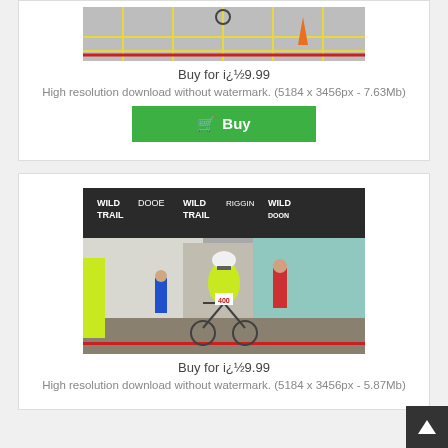[Figure (photo): Top portion of a photo showing a cycling/triathlon event finish area with orange cones and yellow grid lines on tarmac, partially cropped at top]
Buy for ï¿½9.99
High resolution download without watermark. (5184 x 3456px - 7.63Mb)
[Figure (other): Green Buy button with shopping cart icon]
[Figure (photo): Cyclist in bright yellow/green jacket and white helmet riding through a town street finish line area, with Wild Trail banners visible in background and spectators watching]
Buy for ï¿½9.99
High resolution download without watermark. (5184 x 3456px - 5.87Mb)